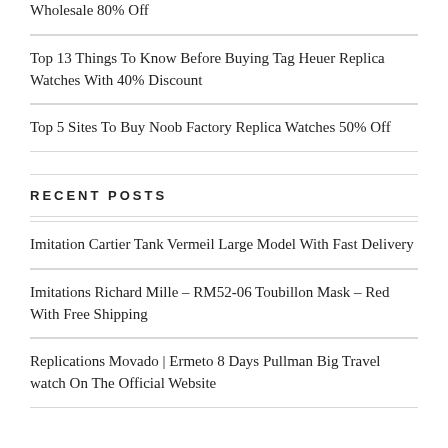Wholesale 80% Off
Top 13 Things To Know Before Buying Tag Heuer Replica Watches With 40% Discount
Top 5 Sites To Buy Noob Factory Replica Watches 50% Off
RECENT POSTS
Imitation Cartier Tank Vermeil Large Model With Fast Delivery
Imitations Richard Mille – RM52-06 Toubillon Mask – Red With Free Shipping
Replications Movado | Ermeto 8 Days Pullman Big Travel watch On The Official Website